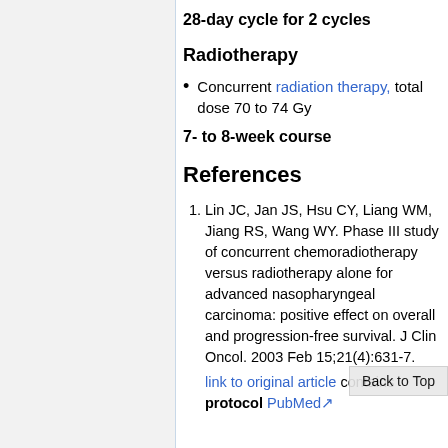28-day cycle for 2 cycles
Radiotherapy
Concurrent radiation therapy, total dose 70 to 74 Gy
7- to 8-week course
References
Lin JC, Jan JS, Hsu CY, Liang WM, Jiang RS, Wang WY. Phase III study of concurrent chemoradiotherapy versus radiotherapy alone for advanced nasopharyngeal carcinoma: positive effect on overall and progression-free survival. J Clin Oncol. 2003 Feb 15;21(4):631-7. link to original article contains protocol PubMed